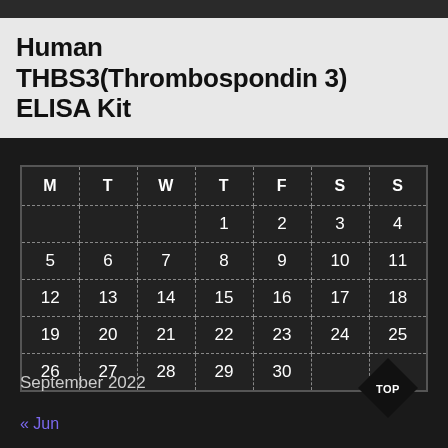Human THBS3(Thrombospondin 3) ELISA Kit
| M | T | W | T | F | S | S |
| --- | --- | --- | --- | --- | --- | --- |
|  |  |  | 1 | 2 | 3 | 4 |
| 5 | 6 | 7 | 8 | 9 | 10 | 11 |
| 12 | 13 | 14 | 15 | 16 | 17 | 18 |
| 19 | 20 | 21 | 22 | 23 | 24 | 25 |
| 26 | 27 | 28 | 29 | 30 |  |  |
September 2022
« Jun